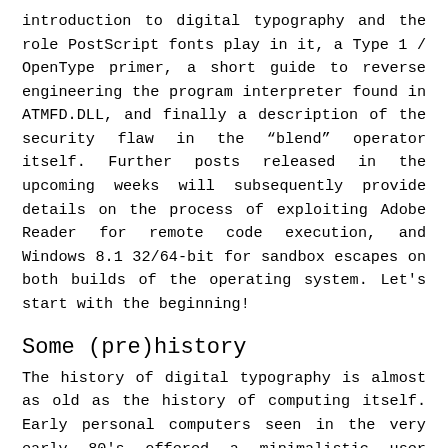introduction to digital typography and the role PostScript fonts play in it, a Type 1 / OpenType primer, a short guide to reverse engineering the program interpreter found in ATMFD.DLL, and finally a description of the security flaw in the “blend” operator itself. Further posts released in the upcoming weeks will subsequently provide details on the process of exploiting Adobe Reader for remote code execution, and Windows 8.1 32/64-bit for sandbox escapes on both builds of the operating system. Let's start with the beginning!
Some (pre)history
The history of digital typography is almost as old as the history of computing itself. Early personal computers seen in the very early 80's offered a minimalistic user interface, which only allowed input and output to be passed around as text – text that had to be displayed on the screen somehow. Since both hardware and software were very simple and had limited capabilities, text formatting on the display were not an utmost priority back then (more so in the printing industry) with mostly predefined, fixed-width bitmap fonts used at first. Figure 1 shows the different